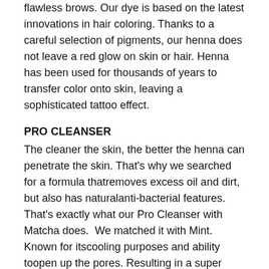flawless brows. Our dye is based on the latest innovations in hair coloring. Thanks to a careful selection of pigments, our henna does not leave a red glow on skin or hair. Henna has been used for thousands of years to transfer color onto skin, leaving a sophisticated tattoo effect.
PRO CLEANSER
The cleaner the skin, the better the henna can penetrate the skin. That's why we searched for a formula thatremoves excess oil and dirt, but also has naturalanti-bacterial features. That's exactly what our Pro Cleanser with Matcha does.  We matched it with Mint. Known for itscooling purposes and ability toopen up the pores. Resulting in a super clean skin, ready to rock new flawless Henna Brows.
EUCALYPTUS COLOR DEVELOPER